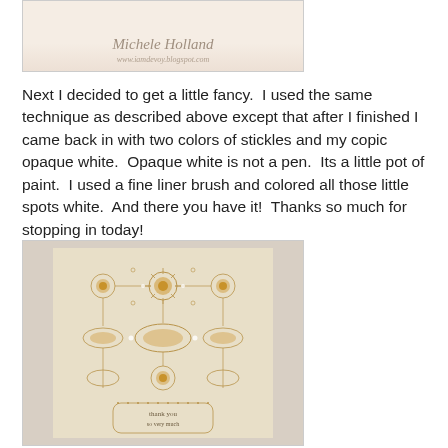[Figure (photo): Top portion of a craft card with handwritten signature 'Michele Holland' and URL www.iamdevoy.blogspot.com on a light beige background]
Next I decided to get a little fancy.  I used the same technique as described above except that after I finished I came back in with two colors of stickles and my copic opaque white.  Opaque white is not a pen.  Its a little pot of paint.  I used a fine liner brush and colored all those little spots white.  And there you have it!  Thanks so much for stopping in today!
[Figure (photo): A handmade thank you card with ornate gold and copper stamped designs on beige/kraft cardstock, featuring intricate lace-like patterns, glitter accents, and a 'thank you so very much' label at the bottom center]